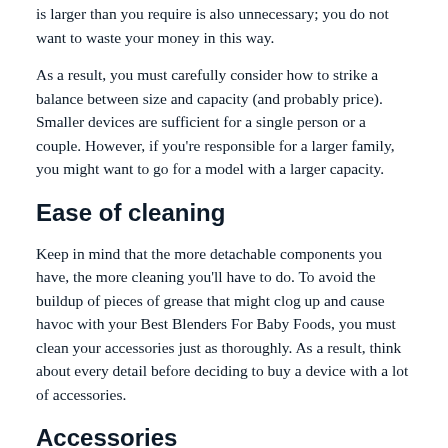is larger than you require is also unnecessary; you do not want to waste your money in this way.
As a result, you must carefully consider how to strike a balance between size and capacity (and probably price). Smaller devices are sufficient for a single person or a couple. However, if you're responsible for a larger family, you might want to go for a model with a larger capacity.
Ease of cleaning
Keep in mind that the more detachable components you have, the more cleaning you'll have to do. To avoid the buildup of pieces of grease that might clog up and cause havoc with your Best Blenders For Baby Foods, you must clean your accessories just as thoroughly. As a result, think about every detail before deciding to buy a device with a lot of accessories.
Accessories